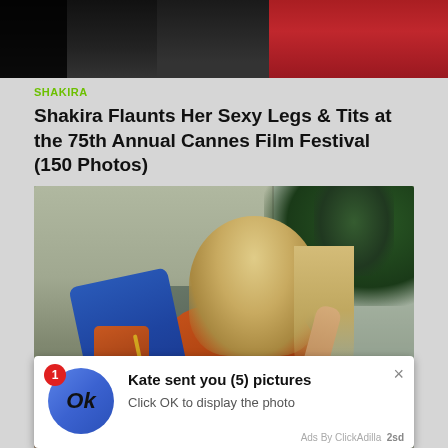[Figure (photo): Partially visible photo at top showing people in dark and red clothing]
SHAKIRA
Shakira Flaunts Her Sexy Legs & Tits at the 75th Annual Cannes Film Festival (150 Photos)
[Figure (photo): Young blonde woman sitting in a chair wearing an orange top and holding a blue item, with greenery in background]
[Figure (screenshot): Ad notification overlay: badge with number 1, blue circle with 'Ok' text, title 'Kate sent you (5) pictures', body 'Click OK to display the photo', close X button, footer 'Ads By ClickAdilla  2sd']